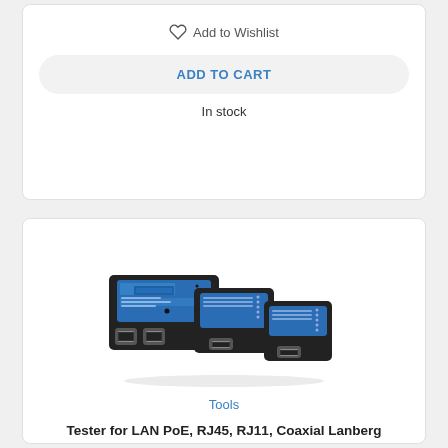Add to Wishlist
ADD TO CART
In stock
[Figure (photo): Photo of a LAN cable tester set consisting of three black and blue electronic devices with RJ45/RJ11 ports, arranged in a staggered group.]
Tools
Tester for LAN PoE, RJ45, RJ11, Coaxial Lanberg